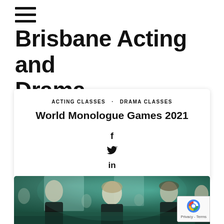≡ (hamburger menu icon)
Brisbane Acting and Drama
ACTING CLASSES   DRAMA CLASSES
World Monologue Games 2021
[Figure (other): Social media share icons: Facebook (f), Twitter (bird), LinkedIn (in)]
[Figure (photo): Photo of young people performing on stage in a teal/green lit environment, wearing black clothing. Three main figures visible in the foreground.]